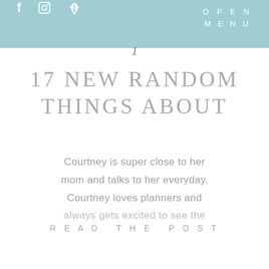f  [instagram]  [pinterest]    OPEN MENU
17 NEW RANDOM THINGS ABOUT
Courtney is super close to her mom and talks to her everyday. Courtney loves planners and always gets excited to see the
READ THE POST